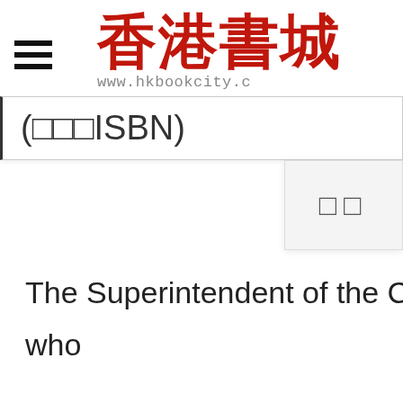香港書城 www.hkbookcity.c
(□□□ISBN)
[Figure (screenshot): Dropdown box with two square characters (□□)]
The Superintendent of the Ch who